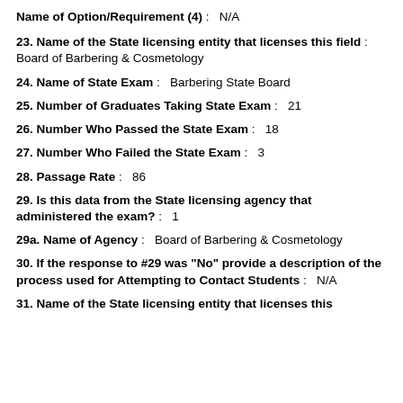Name of Option/Requirement (4) :   N/A
23. Name of the State licensing entity that licenses this field :   Board of Barbering & Cosmetology
24. Name of State Exam :   Barbering State Board
25. Number of Graduates Taking State Exam :   21
26. Number Who Passed the State Exam :   18
27. Number Who Failed the State Exam :   3
28. Passage Rate :   86
29. Is this data from the State licensing agency that administered the exam? :   1
29a. Name of Agency :   Board of Barbering & Cosmetology
30. If the response to #29 was "No" provide a description of the process used for Attempting to Contact Students :   N/A
31. Name of the State licensing entity that licenses this